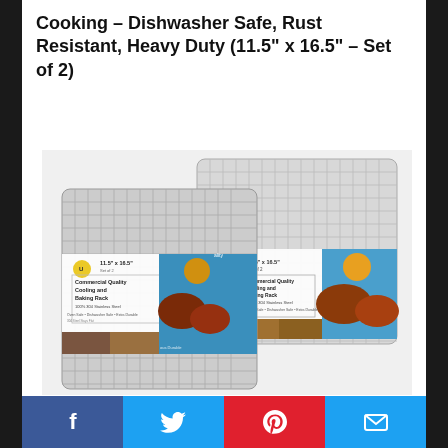Cooking – Dishwasher Safe, Rust Resistant, Heavy Duty (11.5" x 16.5" – Set of 2)
[Figure (photo): Product photo showing two stainless steel wire cooling and baking racks with product packaging labels showing 'Commercial Quality Cooling and Baking Rack 100% 304 Stainless Steel' with food photography of muffins/pastries on a blue background.]
Social share buttons: Facebook, Twitter, Pinterest, Email